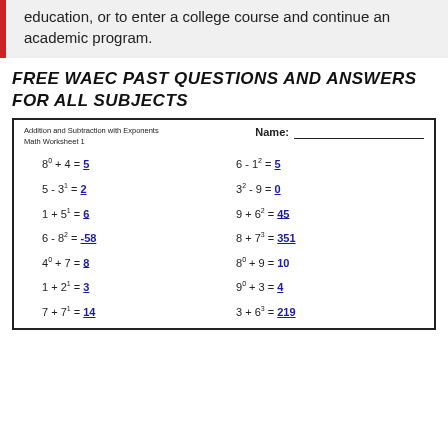education, or to enter a college course and continue an academic program.
FREE WAEC PAST QUESTIONS AND ANSWERS FOR ALL SUBJECTS
[Figure (other): Math worksheet titled 'Addition and Subtraction with Exponents Math Worksheet 1' with Name field and 14 problems with answers]